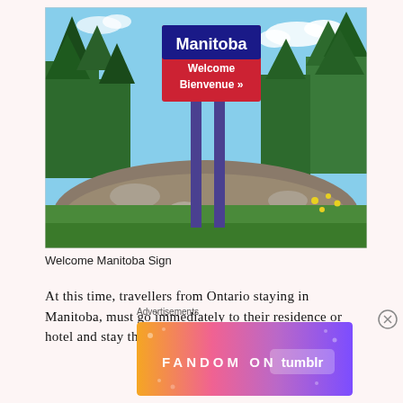[Figure (photo): Photo of the Manitoba Welcome / Bienvenue sign standing on a rocky hillock surrounded by green trees and wildflowers under a blue sky.]
Welcome Manitoba Sign
At this time, travellers from Ontario staying in Manitoba, must go immediately to their residence or hotel and stay there for 14 days, leaving only for
Advertisements
[Figure (other): Advertisement banner: FANDOM ON tumblr — colorful gradient background with icons and text.]